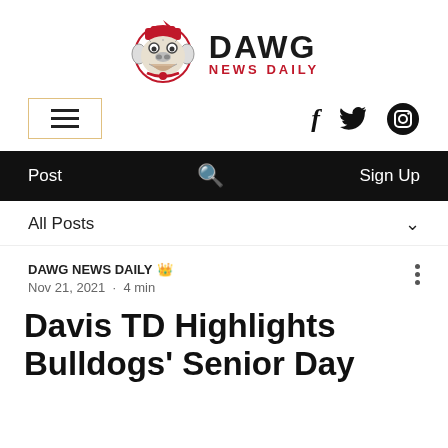[Figure (logo): Dawg News Daily logo with bulldog mascot wearing red hat and 'DAWG NEWS DAILY' text]
[Figure (infographic): Navigation row with hamburger menu icon in bordered box and social media icons: f (Facebook), bird (Twitter), circle camera (Instagram)]
Post   🔍   Sign Up
All Posts ∨
DAWG NEWS DAILY 👑
Nov 21, 2021  ·  4 min
Davis TD Highlights Bulldogs' Senior Day